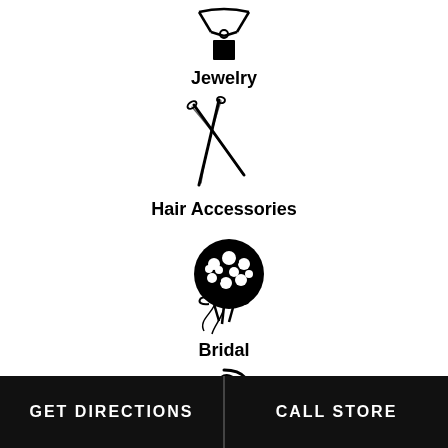[Figure (illustration): Black icon of a jewelry item (necklace with pendant)]
Jewelry
[Figure (illustration): Black sketch of hair pins / bobby pins]
Hair Accessories
[Figure (illustration): Black sketch of a bridal bouquet with flowers and ribbon]
Bridal
[Figure (illustration): Partial black sketch of another item (partially cut off at bottom)]
GET DIRECTIONS   CALL STORE